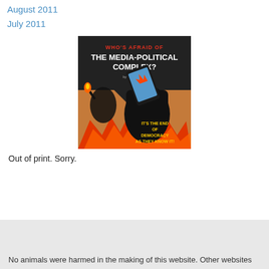August 2011
July 2011
[Figure (illustration): Book cover: 'Who's Afraid of The Media-Political Complex?' showing a raised fist holding a smartphone with flames and silhouettes, text reading 'It's the end of democracy as they know it!']
Out of print. Sorry.
No animals were harmed in the making of this website. Other websites